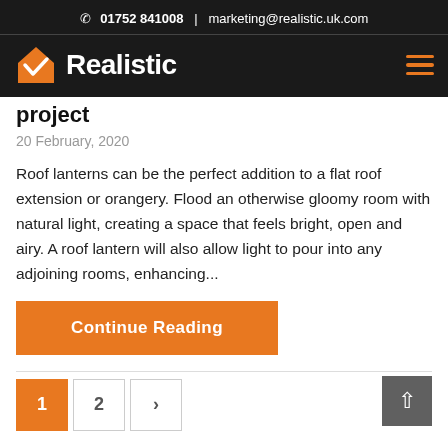📞 01752 841008  |  marketing@realistic.uk.com
[Figure (logo): Realistic company logo: orange house with white checkmark, bold white text 'Realistic', and orange hamburger menu icon on right]
project
20 February, 2020
Roof lanterns can be the perfect addition to a flat roof extension or orangery. Flood an otherwise gloomy room with natural light, creating a space that feels bright, open and airy. A roof lantern will also allow light to pour into any adjoining rooms, enhancing...
Continue Reading
1  2  >